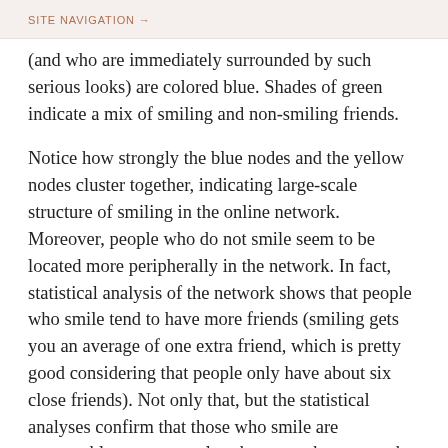SITE NAVIGATION →
(and who are immediately surrounded by such serious looks) are colored blue. Shades of green indicate a mix of smiling and non-smiling friends.
Notice how strongly the blue nodes and the yellow nodes cluster together, indicating large-scale structure of smiling in the online network. Moreover, people who do not smile seem to be located more peripherally in the network. In fact, statistical analysis of the network shows that people who smile tend to have more friends (smiling gets you an average of one extra friend, which is pretty good considering that people only have about six close friends). Not only that, but the statistical analyses confirm that those who smile are measurably more central to the network compared to those who do not smile. That is, if you smile, you are likely to be...